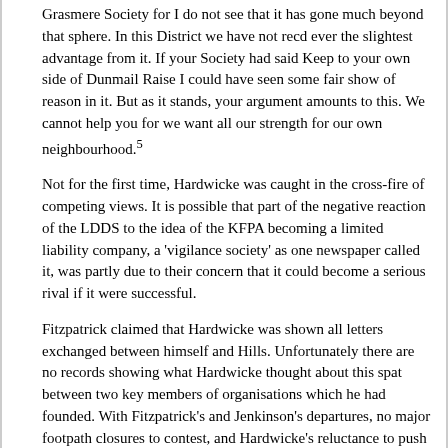Grasmere Society for I do not see that it has gone much beyond that sphere. In this District we have not recd ever the slightest advantage from it. If your Society had said Keep to your own side of Dunmail Raise I could have seen some fair show of reason in it. But as it stands, your argument amounts to this. We cannot help you for we want all our strength for our own neighbourhood.⁵
Not for the first time, Hardwicke was caught in the cross-fire of competing views. It is possible that part of the negative reaction of the LDDS to the idea of the KFPA becoming a limited liability company, a 'vigilance society' as one newspaper called it, was partly due to their concern that it could become a serious rival if it were successful.
Fitzpatrick claimed that Hardwicke was shown all letters exchanged between himself and Hills. Unfortunately there are no records showing what Hardwicke thought about this spat between two key members of organisations which he had founded. With Fitzpatrick's and Jenkinson's departures, no major footpath closures to contest, and Hardwicke's reluctance to push forward the idea of a limited liability company in opposition to the LDDS, very little was heard of the KFPA in the years that followed the signing of the footpaths agreement with R. D. Marshall.
Rights of Way and Legislation